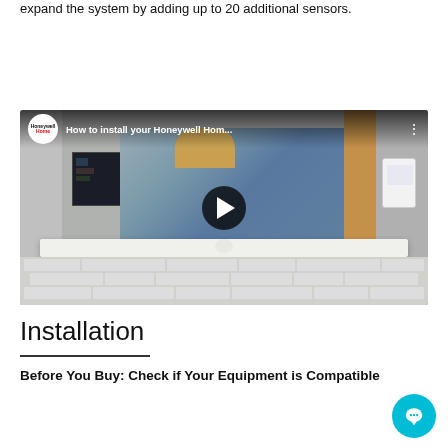expand the system by adding up to 20 additional sensors.
[Figure (screenshot): YouTube video thumbnail for 'How to install your Honeywell Hom...' showing a woman installing thermostat wiring, with a play button overlay and Honeywell Home channel logo]
Installation
Before You Buy: Check if Your Equipment is Compatible